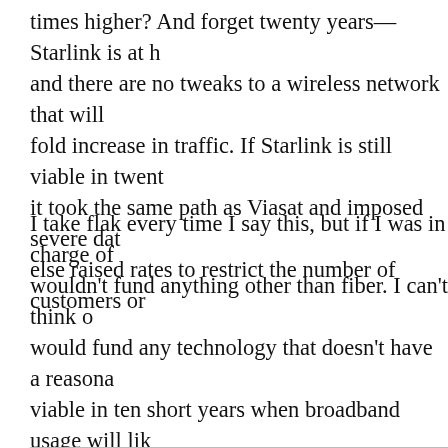times higher? And forget twenty years—Starlink is at h and there are no tweaks to a wireless network that will fold increase in traffic. If Starlink is still viable in twent it took the same path as Viasat and imposed severe dat else raised rates to restrict the number of customers or
I take flak every time I say this, but if I was in charge of wouldn't fund anything other than fiber. I can't think o would fund any technology that doesn't have a reasona viable in ten short years when broadband usage will lik than today. I would hope that a government-funded ne twenty years when traffic volumes are likely to be one h than today. If we don't get this right, then we're going t build rural fiber a decade from now when other technol